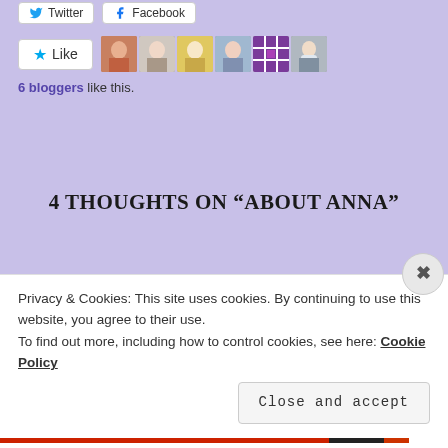[Figure (screenshot): Social sharing buttons: Twitter and Facebook buttons at top]
[Figure (screenshot): Like button with star icon and 6 blogger avatar thumbnails]
6 bloggers like this.
4 THOUGHTS ON “ABOUT ANNA”
[Figure (illustration): Green and white quilt-pattern avatar for commenter Hanan]
Hanan
september 12, 2017 at 11:59 am
Privacy & Cookies: This site uses cookies. By continuing to use this website, you agree to their use.
To find out more, including how to control cookies, see here: Cookie Policy
Close and accept